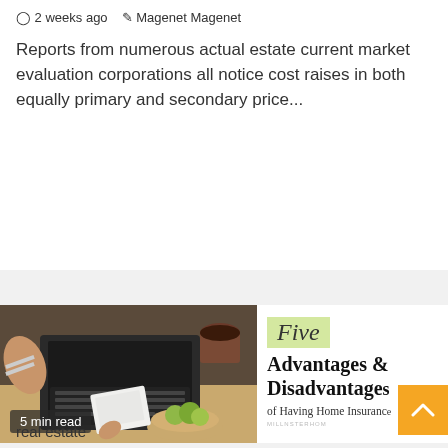⊙ 2 weeks ago  ✎ Magenet Magenet
Reports from numerous actual estate current market evaluation corporations all notice cost raises in both equally primary and secondary price...
[Figure (photo): Overhead view of a person working at a desk with a laptop, notebook, coffee cup, and bowl of green apples. Overlay label reads '5 min read'.]
[Figure (illustration): Partial view of an infographic titled 'Five Advantages & Disadvantages of Having Home Insurance' with a light green banner and yellow scroll-to-top button.]
real estate